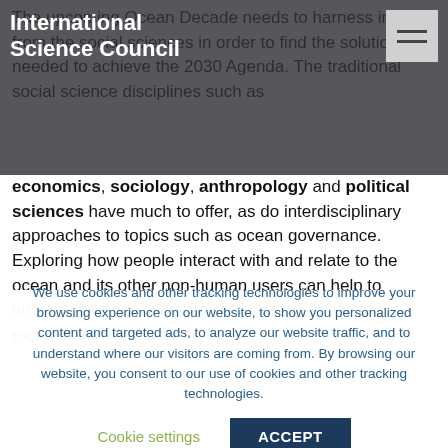International Science Council
The upcoming Ocean Decade needs to harness insights from the social sciences in order to find the solutions needed to achieve the 2030 Agenda. The traditional social science disciplines such as economics, sociology, anthropology and political sciences have much to offer, as do interdisciplinary approaches to topics such as ocean governance. Exploring how people interact with and relate to the ocean and its other non-human users can help to understand how environmental change is being experienced. A focus on
We use cookies and other tracking technologies to improve your browsing experience on our website, to show you personalized content and targeted ads, to analyze our website traffic, and to understand where our visitors are coming from. By browsing our website, you consent to our use of cookies and other tracking technologies.
Cookie settings
ACCEPT